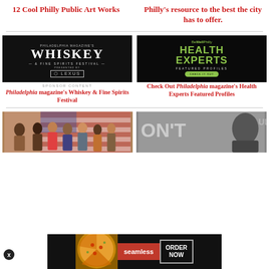12 Cool Philly Public Art Works
Philly's resource to the best the city has to offer.
[Figure (photo): Philadelphia Magazine's Whiskey & Fine Spirits Festival advertisement, dark background with large white WHISKEY text, presented by Lexus]
SPONSOR CONTENT
Philadelphia magazine's Whiskey & Fine Spirits Festival
[Figure (photo): BeWellPhilly Health Experts Featured Profiles advertisement on dark background with green text and a CHECK IT OUT button]
Check Out Philadelphia magazine's Health Experts Featured Profiles
[Figure (photo): Group photo of people in front of an American flag]
[Figure (photo): Black and white protest photo with person and text]
[Figure (photo): Seamless pizza ORDER NOW banner advertisement]